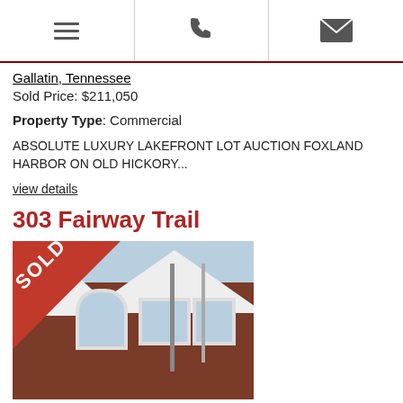[Figure (other): Navigation header bar with hamburger menu icon, phone icon, and email/envelope icon separated by vertical lines]
Gallatin, Tennessee
Sold Price: $211,050
Property Type: Commercial
ABSOLUTE LUXURY LAKEFRONT LOT AUCTION FOXLAND HARBOR ON OLD HICKORY...
view details
303 Fairway Trail
[Figure (photo): Photo of a brick house with white trim roofline and bare trees, overlaid with a red SOLD banner in the top-left corner]